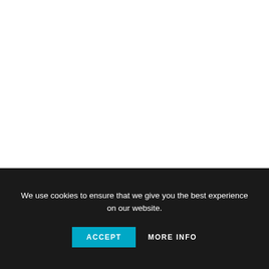Viscosity, Rheology and Surface Tension –
We use cookies to ensure that we give you the best experience on our website.
ACCEPT
MORE INFO